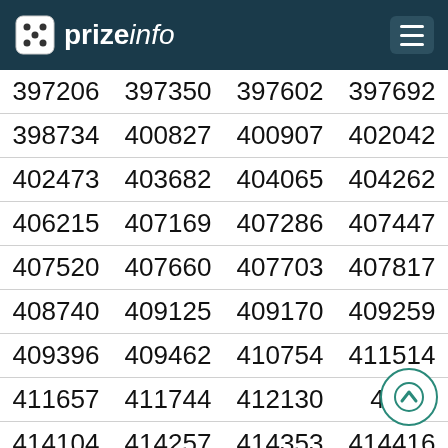prizeinfo
| 397206 | 397350 | 397602 | 397692 |
| 398734 | 400827 | 400907 | 402042 |
| 402473 | 403682 | 404065 | 404262 |
| 406215 | 407169 | 407286 | 407447 |
| 407520 | 407660 | 407703 | 407817 |
| 408740 | 409125 | 409170 | 409259 |
| 409396 | 409462 | 410754 | 411514 |
| 411657 | 411744 | 412130 | 412… |
| 414104 | 414257 | 414353 | 414416 |
| 417368 | 417667 | 417804 | 418037 |
| 418156 | 418534 | 419095 | 419616 |
| 419658 | 422175 | 422280 | 422711 |